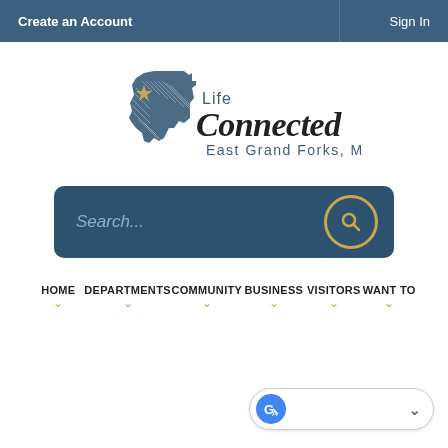Create an Account    Sign In
[Figure (logo): Life Connected East Grand Forks, MN logo with Minnesota state outline and gold star]
Search...
HOME  DEPARTMENTS  COMMUNITY  BUSINESS  VISITORS  WANT TO
[Figure (other): Google Translate widget with dropdown]